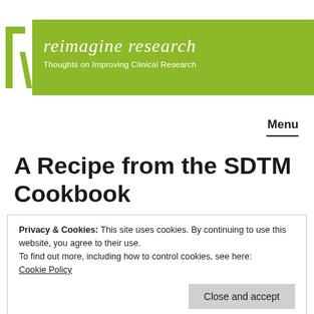reimagine research — Thoughts on Improving Clinical Research
Menu
A Recipe from the SDTM Cookbook
Privacy & Cookies: This site uses cookies. By continuing to use this website, you agree to their use.
To find out more, including how to control cookies, see here: Cookie Policy
Close and accept
In my earlier posting on SDTM as a Cookbook,